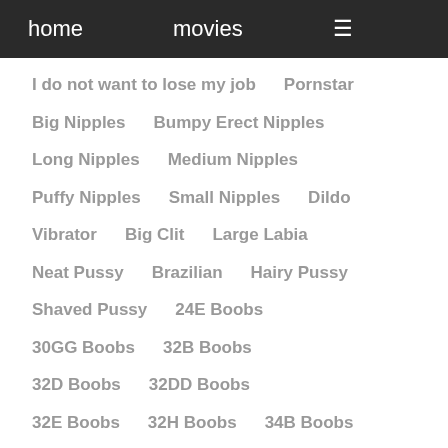home   movies   ≡
I do not want to lose my job    Pornstar
Big Nipples    Bumpy Erect Nipples
Long Nipples    Medium Nipples
Puffy Nipples    Small Nipples    Dildo
Vibrator    Big Clit    Large Labia
Neat Pussy    Brazilian    Hairy Pussy
Shaved Pussy    24E Boobs
30GG Boobs    32B Boobs
32D Boobs    32DD Boobs
32E Boobs    32H Boobs    34B Boobs